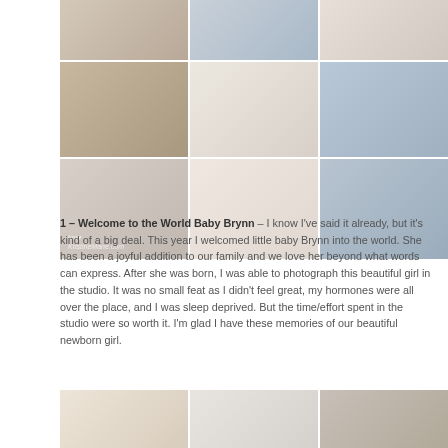[Figure (photo): Collage of 9 newborn baby photos arranged in a 3x3 grid. Photos show a newborn baby Brynn in various poses — wrapped in navy blue fabric, on fluffy white rug, in a blue bucket, posed on cream backdrop, wrapped in blue swaddle, and other newborn studio photography shots.]
1 – Welcome to the World Baby Brynn – I know I've said it already, but it's kind of a big deal. This year I welcomed little baby Brynn into the world. She has been a joyful addition to our family and we love her beyond what words can express. After she was born, I was able to photograph this beautiful girl in the studio. It was no small feat as I didn't feel great, my hormones were all over the place, and I was sleep deprived. But the time/effort spent in the studio were so worth it. I'm glad I have these memories of our beautiful newborn girl.
[Figure (photo): Bottom row of 3 newborn baby photos: a close-up of baby Brynn with a bow headband on fluffy rug, baby feet detail shot on white backdrop, and a young boy holding baby Brynn while sitting on a fluffy rug.]